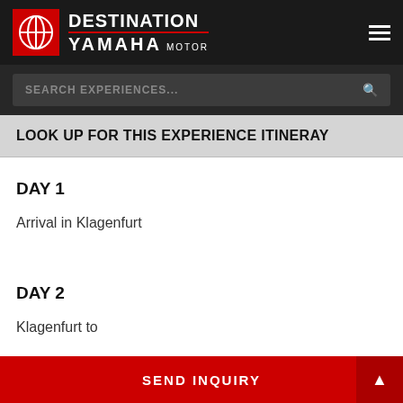DESTINATION YAMAHA MOTOR
SEARCH EXPERIENCES...
LOOK UP FOR THIS EXPERIENCE ITINERAY
DAY 1
Arrival in Klagenfurt
DAY 2
Klagenfurt to ...
SEND INQUIRY